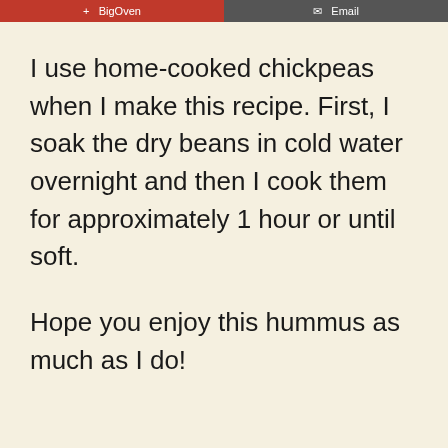+ BigOven   Email
I use home-cooked chickpeas when I make this recipe. First, I soak the dry beans in cold water overnight and then I cook them for approximately 1 hour or until soft.
Hope you enjoy this hummus as much as I do!